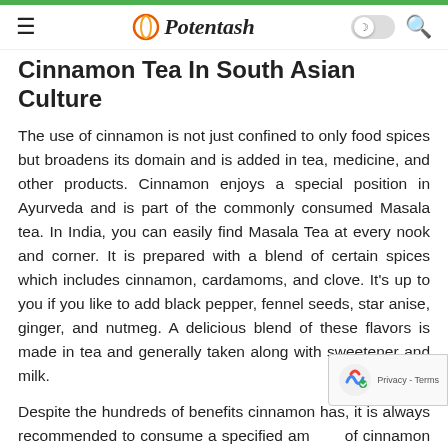Potentash
Cinnamon Tea In South Asian Culture
The use of cinnamon is not just confined to only food spices but broadens its domain and is added in tea, medicine, and other products. Cinnamon enjoys a special position in Ayurveda and is part of the commonly consumed Masala tea. In India, you can easily find Masala Tea at every nook and corner. It is prepared with a blend of certain spices which includes cinnamon, cardamoms, and clove. It's up to you if you like to add black pepper, fennel seeds, star anise, ginger, and nutmeg. A delicious blend of these flavors is made in tea and generally taken along with sweetener and milk.
Despite the hundreds of benefits cinnamon has, it is always recommended to consume a specified amount of cinnamon to avoid any kind of reactions, allergies, or